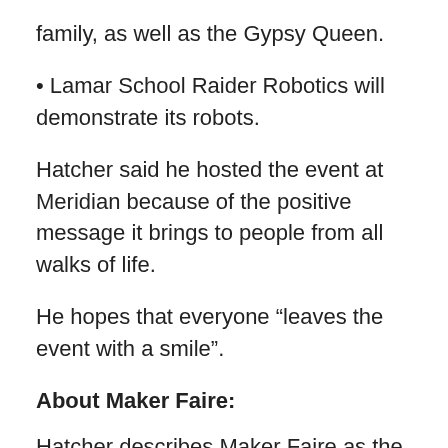family, as well as the Gypsy Queen.
• Lamar School Raider Robotics will demonstrate its robots.
Hatcher said he hosted the event at Meridian because of the positive message it brings to people from all walks of life.
He hopes that everyone “leaves the event with a smile”.
About Maker Faire:
Hatcher describes Maker Faire as the greatest show (and story) on Earth. As a celebration of the Maker movement, it’s a family-friendly showcase of invention and creativity that brings